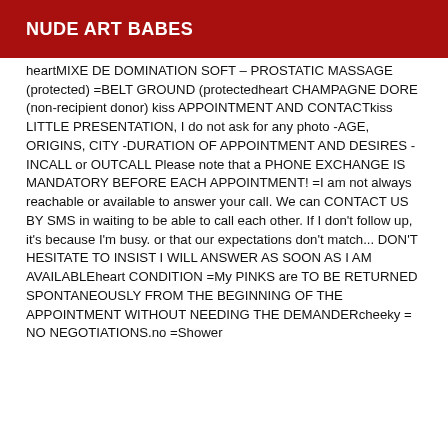NUDE ART BABES
heartMIXE DE DOMINATION SOFT – PROSTATIC MASSAGE (protected) =BELT GROUND (protectedheart CHAMPAGNE DORE (non-recipient donor) kiss APPOINTMENT AND CONTACTkiss LITTLE PRESENTATION, I do not ask for any photo -AGE, ORIGINS, CITY -DURATION OF APPOINTMENT AND DESIRES -INCALL or OUTCALL Please note that a PHONE EXCHANGE IS MANDATORY BEFORE EACH APPOINTMENT! =I am not always reachable or available to answer your call. We can CONTACT US BY SMS in waiting to be able to call each other. If I don't follow up, it's because I'm busy. or that our expectations don't match... DON'T HESITATE TO INSIST I WILL ANSWER AS SOON AS I AM AVAILABLEheart CONDITION =My PINKS are TO BE RETURNED SPONTANEOUSLY FROM THE BEGINNING OF THE APPOINTMENT WITHOUT NEEDING THE DEMANDERcheeky = NO NEGOTIATIONS.no =Shower